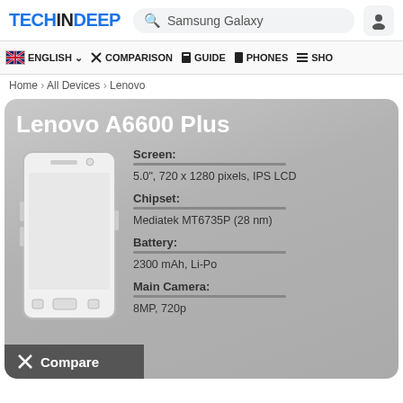TECHINDEEP
Samsung Galaxy
ENGLISH  COMPARISON  GUIDE  PHONES  SHO
Home › All Devices › Lenovo
Lenovo A6600 Plus
[Figure (illustration): Outline illustration of a white Android smartphone facing front]
Screen:
5.0", 720 x 1280 pixels, IPS LCD
Chipset:
Mediatek MT6735P (28 nm)
Battery:
2300 mAh, Li-Po
Main Camera:
8MP, 720p
Compare